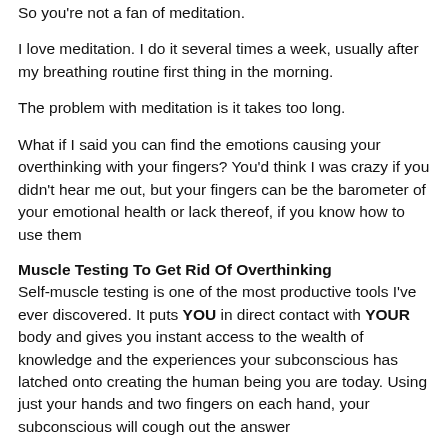So you're not a fan of meditation.
I love meditation. I do it several times a week, usually after my breathing routine first thing in the morning.
The problem with meditation is it takes too long.
What if I said you can find the emotions causing your overthinking with your fingers? You'd think I was crazy if you didn't hear me out, but your fingers can be the barometer of your emotional health or lack thereof, if you know how to use them
Muscle Testing To Get Rid Of Overthinking
Self-muscle testing is one of the most productive tools I've ever discovered. It puts YOU in direct contact with YOUR body and gives you instant access to the wealth of knowledge and the experiences your subconscious has latched onto creating the human being you are today. Using just your hands and two fingers on each hand, your subconscious will cough out the answer